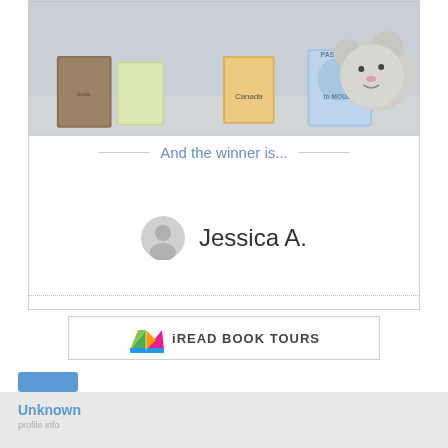[Figure (photo): Photo of children's books including 'Passport to Canada' and a grey mouse plush toy on a light background]
And the winner is...
[Figure (other): Generic user avatar icon (grey silhouette) next to winner name]
Jessica A.
[Figure (logo): iREAD BOOK TOURS logo with colorful open book icon and text]
Unknown